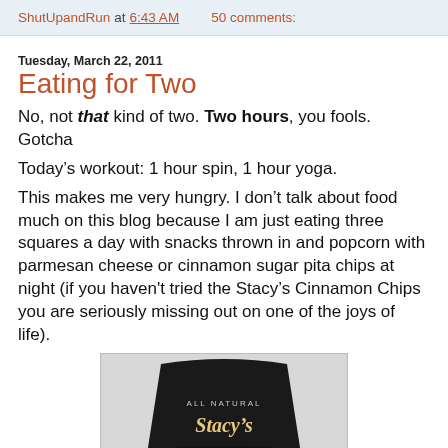ShutUpandRun at 6:43 AM   50 comments:
Tuesday, March 22, 2011
Eating for Two
No, not that kind of two. Two hours, you fools. Gotcha
Today’s workout: 1 hour spin, 1 hour yoga.
This makes me very hungry. I don’t talk about food much on this blog because I am just eating three squares a day with snacks thrown in and popcorn with parmesan cheese or cinnamon sugar pita chips at night (if you haven't tried the Stacy’s Cinnamon Chips you are seriously missing out on one of the joys of life).
[Figure (photo): A black bag of Stacy's All Natural chips product with gold script lettering visible at the bottom.]